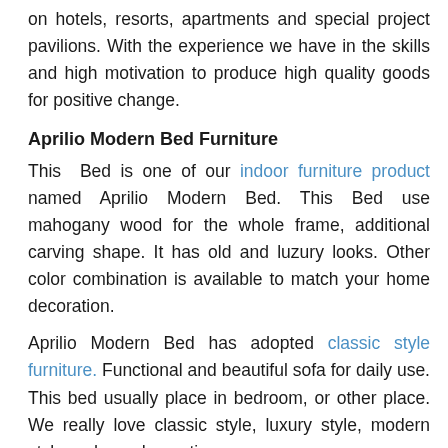on hotels, resorts, apartments and special project pavilions. With the experience we have in the skills and high motivation to produce high quality goods for positive change.
Aprilio Modern Bed Furniture
This Bed is one of our indoor furniture product named Aprilio Modern Bed. This Bed use mahogany wood for the whole frame, additional carving shape. It has old and luzury looks. Other color combination is available to match your home decoration.
Aprilio Modern Bed has adopted classic style furniture. Functional and beautiful sofa for daily use. This bed usually place in bedroom, or other place. We really love classic style, luxury style, modern style and any decoration.
Aprilio Modern Bed is an Indonesian furniture made by our talented craftsman.  further more complete your furniture